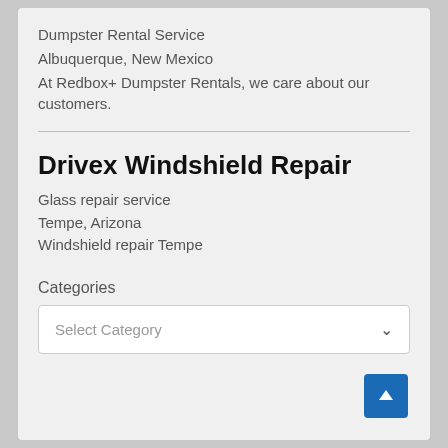Dumpster Rental Service
Albuquerque, New Mexico
At Redbox+ Dumpster Rentals, we care about our customers.
Drivex Windshield Repair
Glass repair service
Tempe, Arizona
Windshield repair Tempe
Categories
Select Category